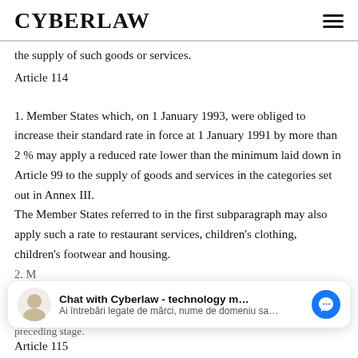CYBERLAW
the supply of such goods or services.
Article 114
1. Member States which, on 1 January 1993, were obliged to increase their standard rate in force at 1 January 1991 by more than 2 % may apply a reduced rate lower than the minimum laid down in Article 99 to the supply of goods and services in the categories set out in Annex III. The Member States referred to in the first subparagraph may also apply such a rate to restaurant services, children's clothing, children's footwear and housing.
2. Member States may apply a reduced rate...preceding stage.
Article 115